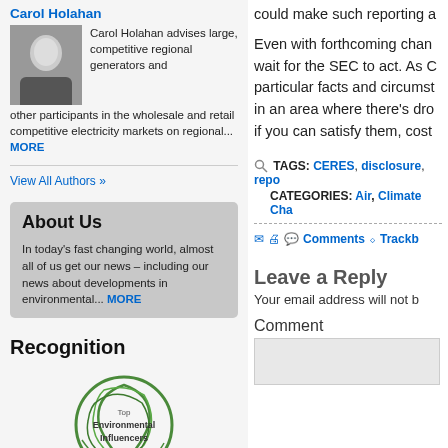Carol Holahan
[Figure (photo): Headshot photo of Carol Holahan, woman in dark blazer]
Carol Holahan advises large, competitive regional generators and other participants in the wholesale and retail competitive electricity markets on regional... MORE
View All Authors »
About Us
In today's fast changing world, almost all of us get our news – including our news about developments in environmental... MORE
Recognition
[Figure (illustration): Green circular logo with leaves, text: Top Environmental Influencers]
could make such reporting a
Even with forthcoming chan wait for the SEC to act. As C particular facts and circumst in an area where there's dro if you can satisfy them, cost
TAGS: CERES, disclosure, repo
CATEGORIES: Air, Climate Cha
Comments   Trackb
Leave a Reply
Your email address will not b
Comment